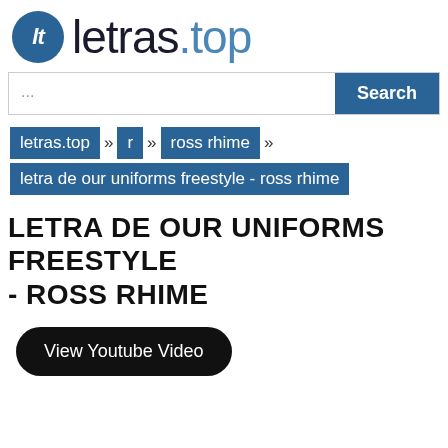[Figure (logo): letras.top logo with circle icon containing 'lt' and site name text]
...
letras.top » r » ross rhime » letra de our uniforms freestyle - ross rhime
LETRA DE OUR UNIFORMS FREESTYLE - ROSS RHIME
View Youtube Video